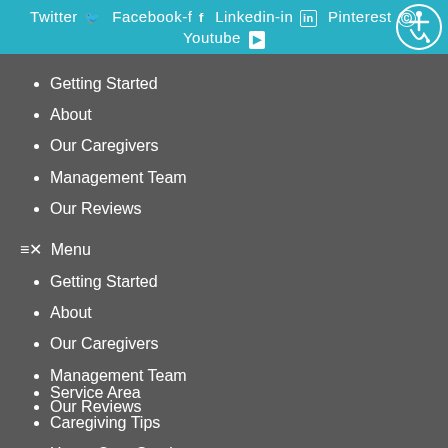Twitter Facebook-f Linkedin-in Pinterest Youtube
Getting Started
About
Our Caregivers
Management Team
Our Reviews
≡✕ Menu
Getting Started
About
Our Caregivers
Management Team
Our Reviews
Service Area
Caregiving Tips
Home Care Services
Careers